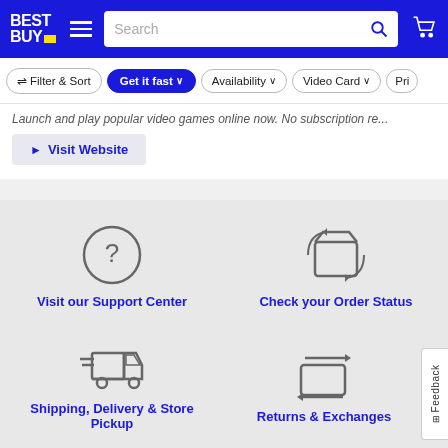[Figure (screenshot): Best Buy navigation bar with logo, hamburger menu, search bar, and cart icon on blue background]
[Figure (screenshot): Filter bar with buttons: Filter & Sort, Get it fast (active/blue), Availability, Video Card, Pri...]
Launch and play popular video games online now. No subscription re...
[Figure (screenshot): Visit Website button with play arrow icon]
[Figure (illustration): Question mark circle icon]
Visit our Support Center
[Figure (illustration): Package/box icon]
Check your Order Status
[Figure (illustration): Delivery truck with motion lines icon]
Shipping, Delivery & Store Pickup
[Figure (illustration): Returns and exchanges arrows with package icon]
Returns & Exchanges
[Figure (screenshot): Feedback tab on right edge of screen]